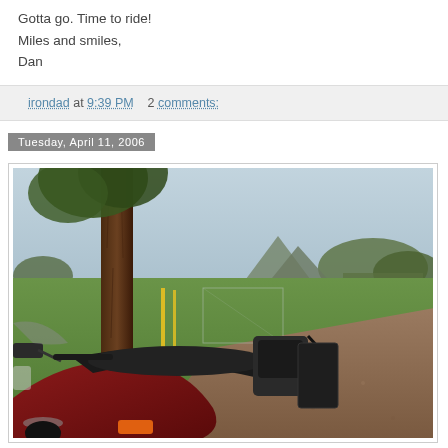Gotta go. Time to ride!
Miles and smiles,
Dan
irondad at 9:39 PM    2 comments:
Tuesday, April 11, 2006
[Figure (photo): A motorcycle (dark red/maroon touring bike) parked in foreground right, with a large tree trunk on the left, green grass field, and a mountain in the background under an overcast sky.]